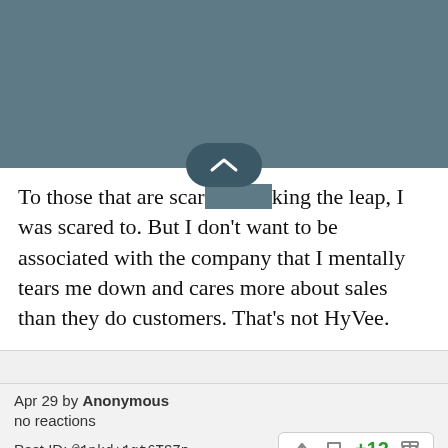[Figure (screenshot): Gray header bar at top of page, partially obscuring text]
To those that are scared of making the leap, I was scared to. But I don't want to be associated with the company that I mentally tears me down and cares more about sales than they do customers. That's not HyVee.
Apr 29 by Anonymous
no reactions
Post ID: @1nkd+1gt6TSZp
+12
I would have no problem leaving the job. I would however have a very difficult time leaving the people I work with. From management all the way down to the person cleaning dishes. They mean all too much to lose.